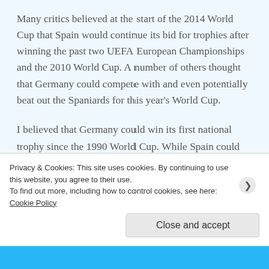Many critics believed at the start of the 2014 World Cup that Spain would continue its bid for trophies after winning the past two UEFA European Championships and the 2010 World Cup. A number of others thought that Germany could compete with and even potentially beat out the Spaniards for this year's World Cup.
I believed that Germany could win its first national trophy since the 1990 World Cup. While Spain could not escape the group stage, falling to the Netherlands and Chile in turn, Germany…
Privacy & Cookies: This site uses cookies. By continuing to use this website, you agree to their use.
To find out more, including how to control cookies, see here: Cookie Policy
Close and accept